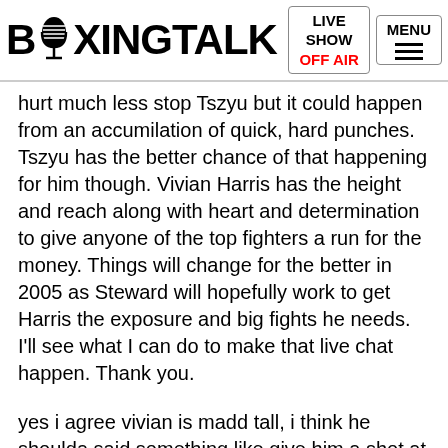BOXINGTALK | LIVE SHOW OFF AIR | MENU
hurt much less stop Tszyu but it could happen from an accumilation of quick, hard punches. Tszyu has the better chance of that happening for him though. Vivian Harris has the height and reach along with heart and determination to give anyone of the top fighters a run for the money. Things will change for the better in 2005 as Steward will hopefully work to get Harris the exposure and big fights he needs. I'll see what I can do to make that live chat happen. Thank you.
yes i agree vivian is madd tall, i think he shoulda said something like give him a shot at the title or something, how do you think Shambra would do against the likes of Spinks, Cintron, Rivera and Judah? i think if he boxes he can make Cintron look goofy but if he gets caught goodnight, as far as Rivera i havn't seen homie, i'd pick Judah and Spinks over him. Holla Back! by the way is there still talk of Spinks vs. Tito?
OnFire's response: Vivian Harris stepped into the ring and gave Tszyu his props on the fight and said he would love to get